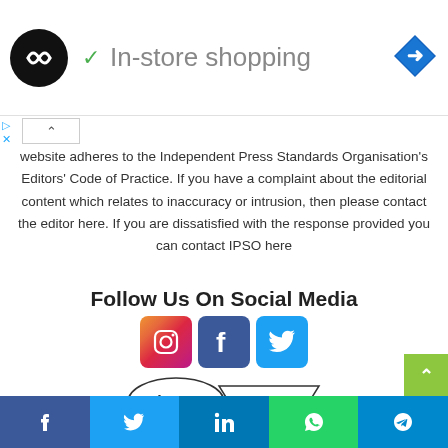[Figure (logo): Black circle logo with infinity/loop symbol and green checkmark, text reading 'In-store shopping', blue diamond navigation icon]
website adheres to the Independent Press Standards Organisation's Editors' Code of Practice. If you have a complaint about the editorial content which relates to inaccuracy or intrusion, then please contact the editor here. If you are dissatisfied with the response provided you can contact IPSO here
Follow Us On Social Media
[Figure (logo): Instagram, Facebook, and Twitter social media icons]
[Figure (logo): IPSO Regulated badge]
[Figure (infographic): Bottom sharing bar with Facebook, Twitter, LinkedIn, WhatsApp, and Telegram buttons]